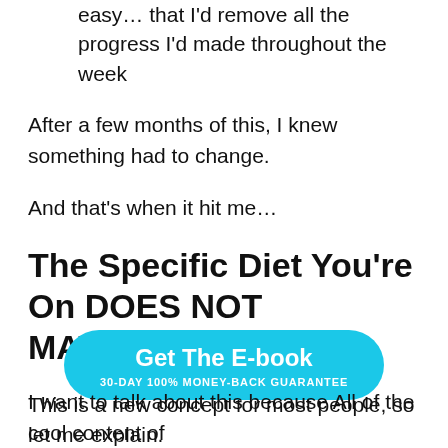easy… that I'd remove all the progress I'd made throughout the week
After a few months of this, I knew something had to change.
And that's when it hit me…
The Specific Diet You're On DOES NOT MATTER…
This is a new concept for most people, so let me explain.
[Figure (other): Cyan call-to-action button reading 'Get The E-book' with subtitle '30-DAY 100% MONEY-BACK GUARANTEE']
I want to talk about this because All of the cool content of